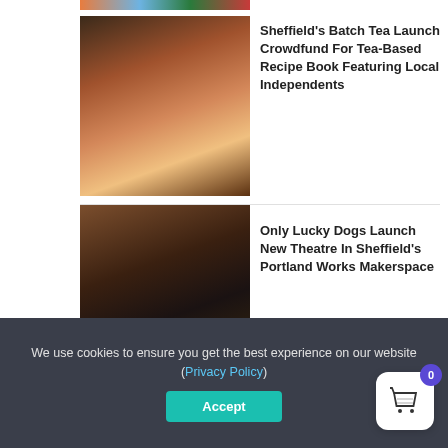[Figure (photo): Partial top strip showing colorful image]
[Figure (photo): Two men in a cafe setting with tea items on table]
Sheffield's Batch Tea Launch Crowdfund For Tea-Based Recipe Book Featuring Local Independents
[Figure (photo): Man sitting on a couch in an industrial brick space]
Only Lucky Dogs Launch New Theatre In Sheffield's Portland Works Makerspace
[Figure (photo): Beat the Street game logo with cartoon figures on a globe with 'Beat the Street' text]
Get Ready To “Beat The Street” In New Citywide Game Encouraging Active Travel
We use cookies to ensure you get the best experience on our website (Privacy Policy)
Accept